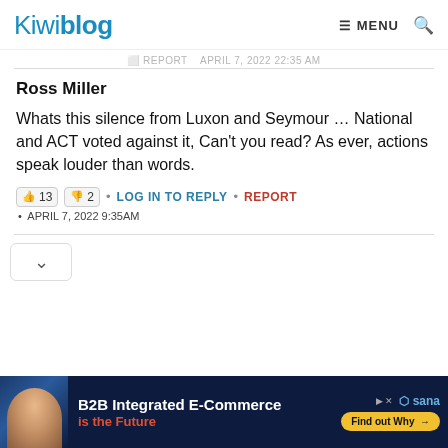Kiwiblog | MENU 🔍
REPORT • APRIL 7, 2022 22:35 AM
Ross Miller
Whats this silence from Luxon and Seymour … National and ACT voted against it, Can't you read? As ever, actions speak louder than words.
13 • 2 • LOG IN TO REPLY • REPORT • APRIL 7, 2022 9:35AM
[Figure (screenshot): Advertisement banner for Sana B2B Integrated E-Commerce with person photo]